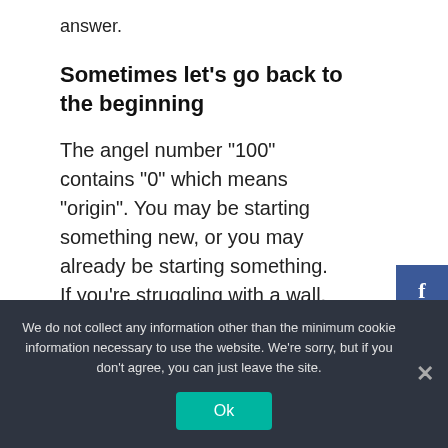answer.
Sometimes let's go back to the beginning
The angel number “100” contains “0” which means “origin”. You may be starting something new, or you may already be starting something. If you’re struggling with a wall, stop once. Angel number “100” has received a message from the angels to return to their original intentions.
We do not collect any information other than the minimum cookie information necessary to use the website. We're sorry, but if you don't agree, you can just leave the site.